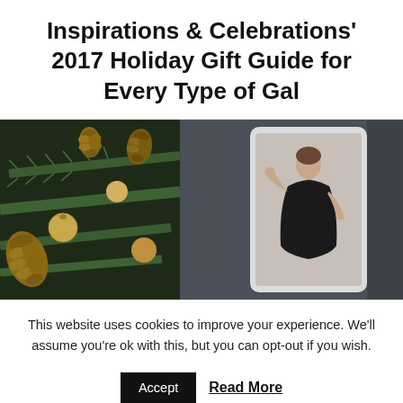Inspirations & Celebrations' 2017 Holiday Gift Guide for Every Type of Gal
[Figure (photo): Composite image: left half shows a dark background with golden pine cones and Christmas ornaments on green pine branches; right half shows a dark grey background with a white tablet displaying a woman in a black dress posing with her hand to her face.]
This website uses cookies to improve your experience. We'll assume you're ok with this, but you can opt-out if you wish.
Accept   Read More